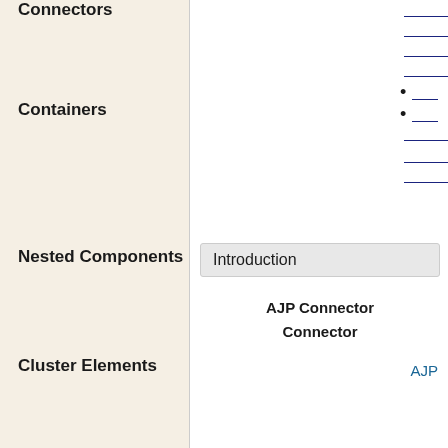Connectors
(link line 1)
(link line 2)
(link line 3)
(link line 4)
(bullet link 1)
(bullet link 2)
(link line 5)
(link line 6)
(link line 7)
Containers
Nested Components
Introduction
AJP Connector
Connector
AJP
Cluster Elements